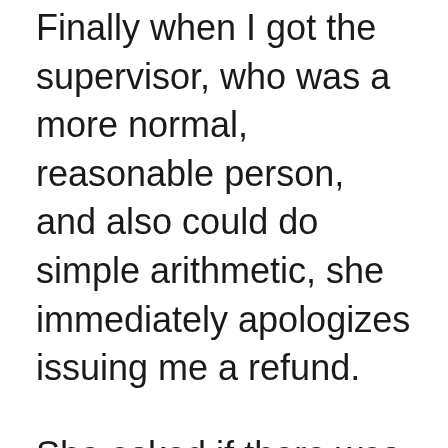Finally when I got the supervisor, who was a more normal, reasonable person, and also could do simple arithmetic, she immediately apologizes issuing me a refund.
She asked if there was anything else she could assist with.
I asked, to confirm again, “Are you a supervisor?”